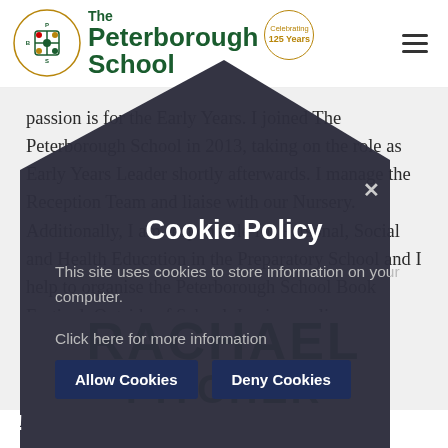[Figure (logo): The Peterborough School logo with decorative emblem and 'Celebrating 125 Years' badge]
passion is for the Early Years. I joined The Peterborough School in 2013, taking on the role as Early Years Leader shortly afterwards. I manage the Reception Team and liaise with our Nursery. Additionally, I am responsible for Personal, Social and Health Education in the Preparatory School and I help to organise the Peterborough School Book Festival. Outside of School, I enjoy cycling, gardening and spending time with
[Figure (screenshot): Cookie Policy popup overlay: dark pentagon-shaped modal with title 'Cookie Policy', body text 'This site uses cookies to store information on your computer.', link 'Click here for more information', and two buttons: 'Allow Cookies' and 'Deny Cookies'. Close X button at top right. Exclamation mark at bottom left.]
RACHAEL PITCHER